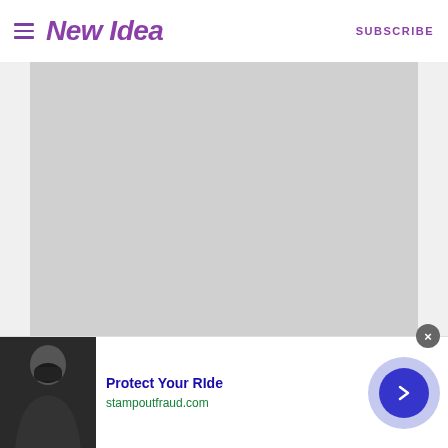New Idea | SUBSCRIBE
[Figure (photo): Large grey placeholder image area below the header navigation of the New Idea website]
[Figure (photo): Advertisement banner at the bottom showing a person wearing a face mask, with title 'Protect Your Ride' and URL 'stampoutfraud.com', with a blue arrow button and close button]